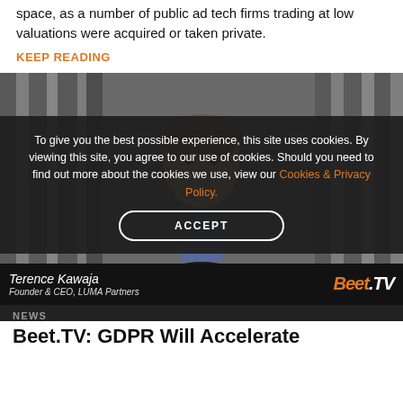space, as a number of public ad tech firms trading at low valuations were acquired or taken private.
KEEP READING
[Figure (photo): A man with grey-brown hair, wearing a dark blazer and blue checked shirt, speaking in front of a dark draped curtain background. Bottom overlay shows name 'Terence Kawaja, Founder & CEO, LUMA Partners' and the Beet.TV logo.]
To give you the best possible experience, this site uses cookies. By viewing this site, you agree to our use of cookies. Should you need to find out more about the cookies we use, view our Cookies & Privacy Policy.
ACCEPT
NEWS
Beet.TV: GDPR Will Accelerate